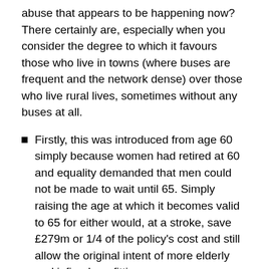abuse that appears to be happening now? There certainly are, especially when you consider the degree to which it favours those who live in towns (where buses are frequent and the network dense) over those who live rural lives, sometimes without any buses at all.
Firstly, this was introduced from age 60 simply because women had retired at 60 and equality demanded that men could not be made to wait until 65. Simply raising the age at which it becomes valid to 65 for either would, at a stroke, save £279m or 1/4 of the policy's cost and still allow the original intent of more elderly and infirm benefitting.
Secondly, it seems unreasonable that no off-peak restriction applies because those using their bus pass compound the problems of rush-hour. Banning its use between 9am and 4pm or after 6pm on work days, as